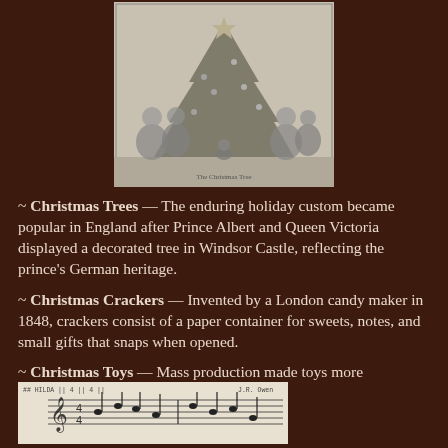[Figure (illustration): Victorian-era engraving showing a family with a Christmas tree inside a home, figures in period dress gathered around.]
~ Christmas Trees — The enduring holiday custom became popular in England after Prince Albert and Queen Victoria displayed a decorated tree in Windsor Castle, reflecting the prince's German heritage.
~ Christmas Crackers — Invented by a London candy maker in 1848, crackers consist of a paper container for sweets, notes, and small gifts that snaps when opened.
~ Christmas Toys — Mass production made toys more affordable gifts for middle class children.
[Figure (illustration): Sheet music excerpt with musical notation, partially visible at the bottom of the page.]